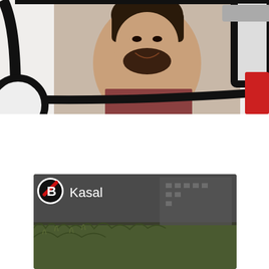[Figure (screenshot): Video thumbnail showing a smiling man in a plaid shirt sitting inside a vehicle with cartoon-style thick black outlines, with a red element visible at right edge. White background with car outline illustration.]
[Figure (screenshot): Watch on YouTube button — dark gray rectangular button with white text 'Watch on' followed by YouTube play icon and 'YouTube' wordmark in white.]
[Figure (screenshot): Video thumbnail showing Bridgestone logo (circle with stylized B, red and black) and text 'Kasal' in white, over a dark scene with grass and a building in the background.]